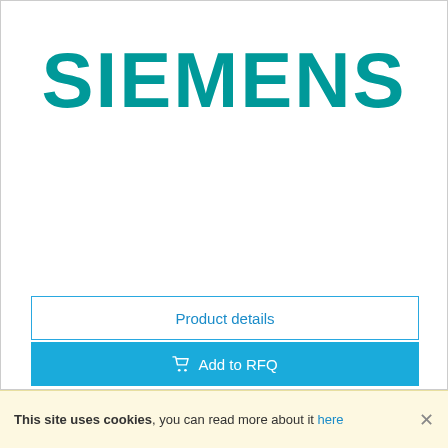[Figure (logo): Siemens company logo in teal/cyan color, bold uppercase letters spelling SIEMENS]
Product details
Add to RFQ
7ML5201-0EA0
This site uses cookies, you can read more about it here